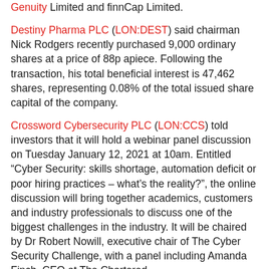Genuity Limited and finnCap Limited.
Destiny Pharma PLC (LON:DEST) said chairman Nick Rodgers recently purchased 9,000 ordinary shares at a price of 88p apiece. Following the transaction, his total beneficial interest is 47,462 shares, representing 0.08% of the total issued share capital of the company.
Crossword Cybersecurity PLC (LON:CCS) told investors that it will hold a webinar panel discussion on Tuesday January 12, 2021 at 10am. Entitled “Cyber Security: skills shortage, automation deficit or poor hiring practices – what’s the reality?”, the online discussion will bring together academics, customers and industry professionals to discuss one of the biggest challenges in the industry. It will be chaired by Dr Robert Nowill, executive chair of The Cyber Security Challenge, with a panel including Amanda Finch, CEO at The Chartered